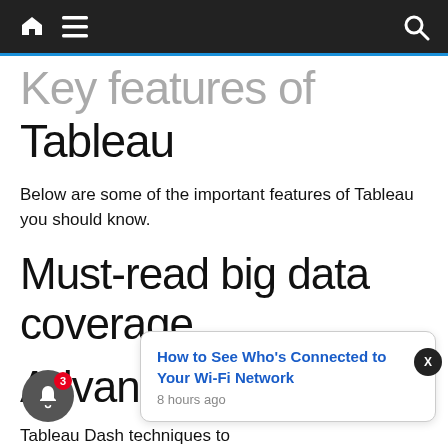Navigation bar with home, menu, and search icons
Key features of Tableau
Below are some of the important features of Tableau you should know.
Must-read big data coverage
Advanced dashboard
Tableau Dashboard techniques to use they views and objects, dashboards are regarded as